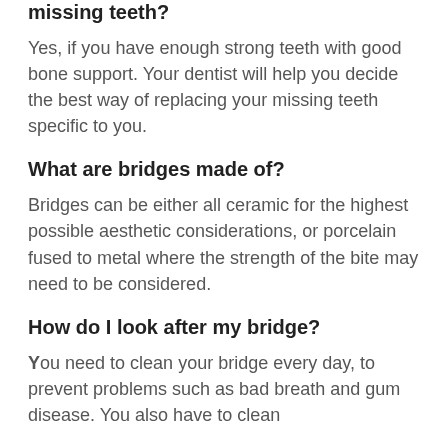missing teeth?
Yes, if you have enough strong teeth with good bone support. Your dentist will help you decide the best way of replacing your missing teeth specific to you.
What are bridges made of?
Bridges can be either all ceramic for the highest possible aesthetic considerations, or porcelain fused to metal where the strength of the bite may need to be considered.
How do I look after my bridge?
You need to clean your bridge every day, to prevent problems such as bad breath and gum disease. You also have to clean